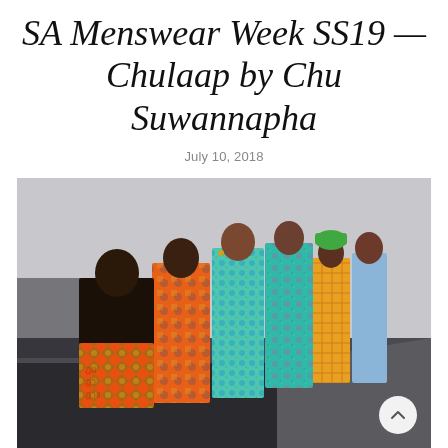SA Menswear Week SS19 — Chulaap by Chu Suwannapha
July 10, 2018
[Figure (photo): A runway photo from SA Menswear Week SS19 showing a line of male models wearing colorful African-print garments. The models stand on a runway stage. The front models display vibrant orange, teal, green and multi-colored patterned outfits. One model in the back wears blue. The lighting is dramatic against a light grey background.]